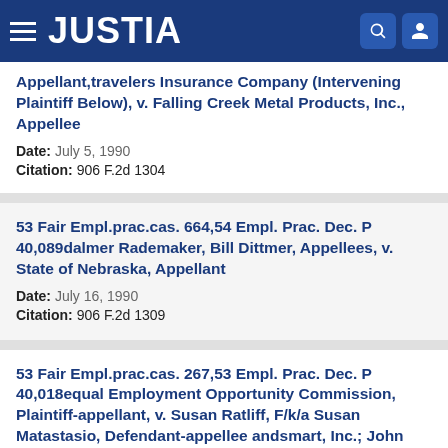JUSTIA
Appellant,travelers Insurance Company (Intervening Plaintiff Below), v. Falling Creek Metal Products, Inc., Appellee
Date: July 5, 1990
Citation: 906 F.2d 1304
53 Fair Empl.prac.cas. 664,54 Empl. Prac. Dec. P 40,089dalmer Rademaker, Bill Dittmer, Appellees, v. State of Nebraska, Appellant
Date: July 16, 1990
Citation: 906 F.2d 1309
53 Fair Empl.prac.cas. 267,53 Empl. Prac. Dec. P 40,018equal Employment Opportunity Commission, Plaintiff-appellant, v. Susan Ratliff, F/k/a Susan Matastasio, Defendant-appellee andsmart, Inc.; John